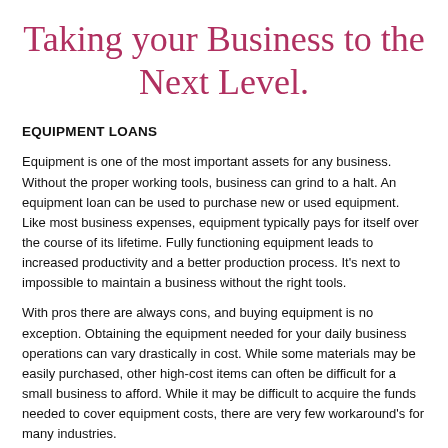Taking your Business to the Next Level.
EQUIPMENT LOANS
Equipment is one of the most important assets for any business. Without the proper working tools, business can grind to a halt. An equipment loan can be used to purchase new or used equipment. Like most business expenses, equipment typically pays for itself over the course of its lifetime. Fully functioning equipment leads to increased productivity and a better production process. It’s next to impossible to maintain a business without the right tools.
With pros there are always cons, and buying equipment is no exception. Obtaining the equipment needed for your daily business operations can vary drastically in cost. While some materials may be easily purchased, other high-cost items can often be difficult for a small business to afford. While it may be difficult to acquire the funds needed to cover equipment costs, there are very few workaround’s for many industries.